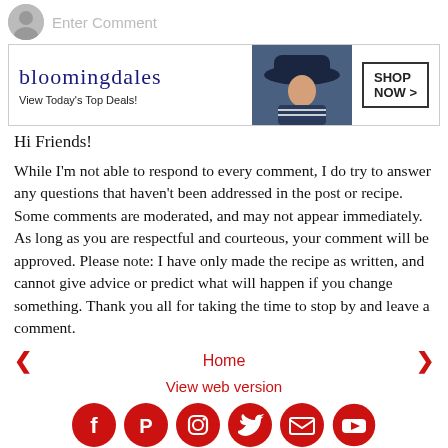Enter Comment
[Figure (other): Bloomingdale's advertisement banner: logo text 'bloomingdales', 'View Today's Top Deals!', image of woman with hat, 'SHOP NOW >' button]
Hi Friends!
While I'm not able to respond to every comment, I do try to answer any questions that haven't been addressed in the post or recipe. Some comments are moderated, and may not appear immediately. As long as you are respectful and courteous, your comment will be approved. Please note: I have only made the recipe as written, and cannot give advice or predict what will happen if you change something. Thank you all for taking the time to stop by and leave a comment.
‹  Home  ›
View web version
[Figure (other): Social media icons row: Facebook, Pinterest, Instagram, Twitter, Email, YouTube — all in red circles]